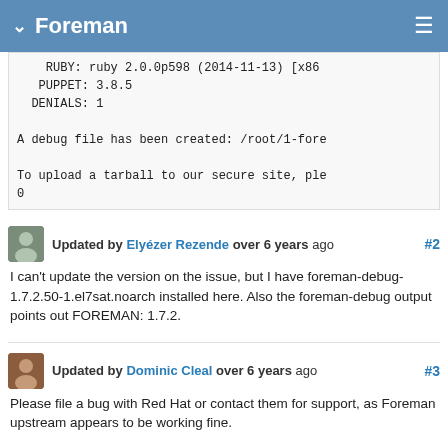Foreman
RUBY: ruby 2.0.0p598 (2014-11-13) [x86
   PUPPET: 3.8.5
  DENIALS: 1

A debug file has been created: /root/1-fore

To upload a tarball to our secure site, ple
0
Updated by Elyézer Rezende over 6 years ago #2
I can't update the version on the issue, but I have foreman-debug-1.7.2.50-1.el7sat.noarch installed here. Also the foreman-debug output points out FOREMAN: 1.7.2.
Updated by Dominic Cleal over 6 years ago #3
Please file a bug with Red Hat or contact them for support, as Foreman upstream appears to be working fine.
Updated by Lukas Zapletal over 6 years ago #4
Category set to Packaging